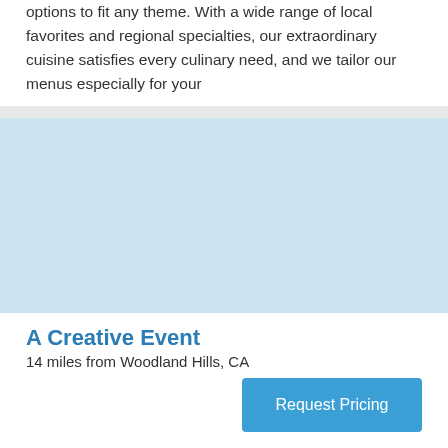options to fit any theme. With a wide range of local favorites and regional specialties, our extraordinary cuisine satisfies every culinary need, and we tailor our menus especially for your
[Figure (photo): Light blue placeholder image for venue or catering service photo]
A Creative Event
14 miles from Woodland Hills, CA
Request Pricing
Established in 1973 Company Picnic, Event Planner, Caterer,